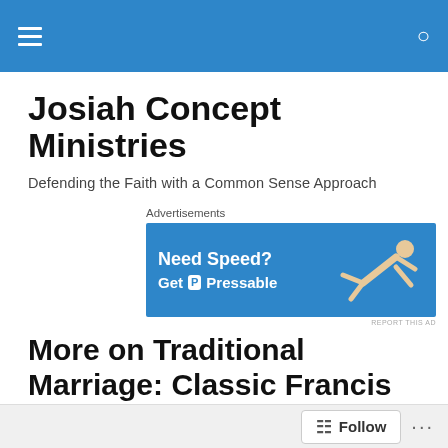Josiah Concept Ministries — navigation bar
Josiah Concept Ministries
Defending the Faith with a Common Sense Approach
[Figure (screenshot): Advertisement banner: Need Speed? Get Pressable. Blue background with person diving/flying to the right.]
More on Traditional Marriage: Classic Francis Beckwith
When the mayor of San Francisco was passing out marriage licenses for gay couples in defiance of state law
Follow ...